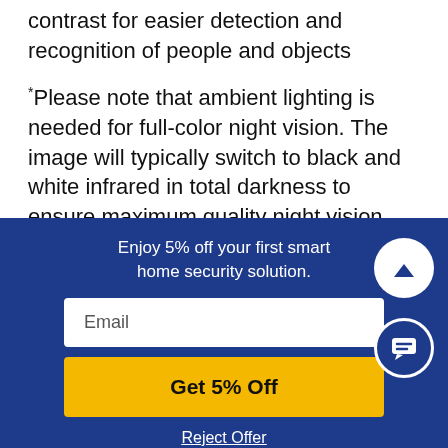contrast for easier detection and recognition of people and objects
*Please note that ambient lighting is needed for full-color night vision. The image will typically switch to black and white infrared in total darkness to ensure maximum quality night vision.
Enjoy 5% off your first smart home security solution.
Email
Get 5% Off
Reject Offer